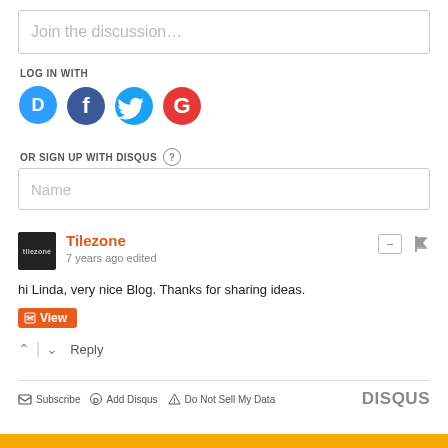Join the discussion…
LOG IN WITH
[Figure (infographic): Social login icons: Disqus (blue speech bubble with D), Facebook (dark blue circle with f), Twitter (light blue circle with bird), Google (red circle with G)]
OR SIGN UP WITH DISQUS ?
Name
Tilezone
7 years ago edited
hi Linda, very nice Blog. Thanks for sharing ideas.
View
Reply
Subscribe  Add Disqus  Do Not Sell My Data  DISQUS